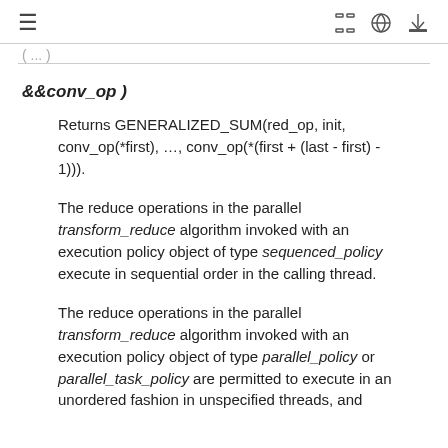≡  [icons: fullscreen, github, download]
( ... )
&&conv_op )
Returns GENERALIZED_SUM(red_op, init, conv_op(*first), …, conv_op(*(first + (last - first) - 1))).
The reduce operations in the parallel transform_reduce algorithm invoked with an execution policy object of type sequenced_policy execute in sequential order in the calling thread.
The reduce operations in the parallel transform_reduce algorithm invoked with an execution policy object of type parallel_policy or parallel_task_policy are permitted to execute in an unordered fashion in unspecified threads, and